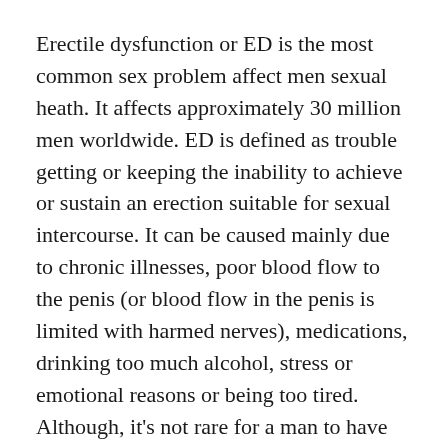Erectile dysfunction or ED is the most common sex problem affect men sexual heath. It affects approximately 30 million men worldwide. ED is defined as trouble getting or keeping the inability to achieve or sustain an erection suitable for sexual intercourse. It can be caused mainly due to chronic illnesses, poor blood flow to the penis (or blood flow in the penis is limited with harmed nerves), medications, drinking too much alcohol, stress or emotional reasons or being too tired. Although, it's not rare for a man to have some types of erections problems from time to time. It can cause stress, contribute to relationship problems and affect your self-confidence.
ED that is occurring routinely with sex or progressive is not normal and it should be treated. It can also be a risk factor for heart disease and a sign